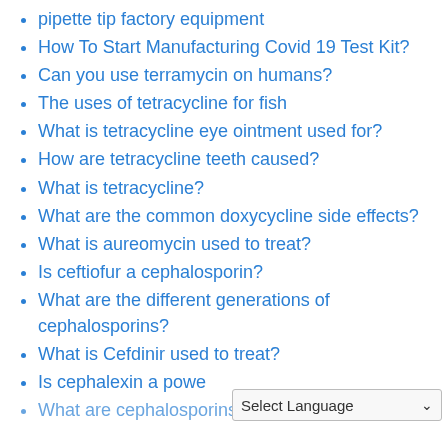pipette tip factory equipment
How To Start Manufacturing Covid 19 Test Kit?
Can you use terramycin on humans?
The uses of tetracycline for fish
What is tetracycline eye ointment used for?
How are tetracycline teeth caused?
What is tetracycline?
What are the common doxycycline side effects?
What is aureomycin used to treat?
Is ceftiofur a cephalosporin?
What are the different generations of cephalosporins?
What is Cefdinir used to treat?
Is cephalexin a power...
What are cephalosporins antibiotics used...